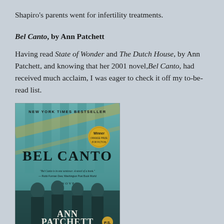Shapiro's parents went for infertility treatments.
Bel Canto, by Ann Patchett
Having read State of Wonder and The Dutch House, by Ann Patchett, and knowing that her 2001 novel, Bel Canto, had received much acclaim, I was eager to check it off my to-be-read list.
[Figure (photo): Book cover of Bel Canto by Ann Patchett. Shows 'New York Times Bestseller' at top, a gold 'Winner' medallion, the title 'BEL CANTO' in large dark letters, a quote below, 'A Novel' text, figures of people in suits at the bottom, and 'ANN PATCHETT' at the bottom. Teal/blue-green color scheme.]